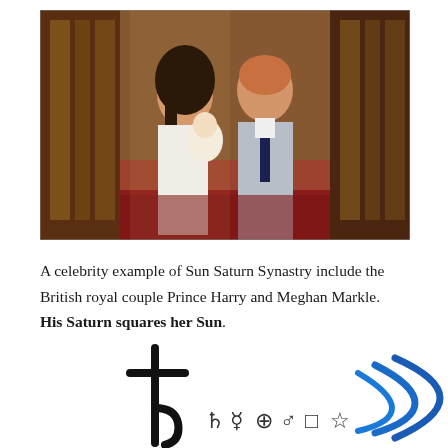[Figure (photo): Photo of Prince Harry and Meghan Markle standing in a grand hall, Meghan in a white dress and Harry in a grey suit with dark tie, holding a newborn baby wrapped in white.]
A celebrity example of Sun Saturn Synastry include the British royal couple Prince Harry and Meghan Markle.  His Saturn squares her Sun.
[Figure (illustration): Astrological symbols: Saturn glyph (resembling a cross with curved bottom), small astrology symbols, and a blue arc/crescent symbol representing the Sun or another planet.]